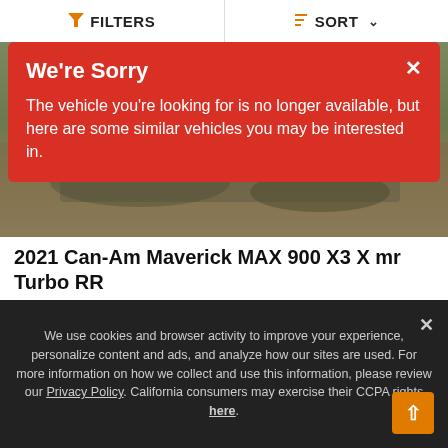FILTERS | SORT
[Figure (photo): Outdoor photo of a vehicle in a grassy/dirt environment, mostly showing natural background]
We're Sorry
The vehicle you're looking for is no longer available, but here are some similar vehicles you may be interested in.
2021 Can-Am Maverick MAX 900 X3 X mr Turbo RR
Reduced Price
$35,995
Color   GREEN
Miles   181
We use cookies and browser activity to improve your experience, personalize content and ads, and analyze how our sites are used. For more information on how we collect and use this information, please review our Privacy Policy. California consumers may exercise their CCPA rights here.